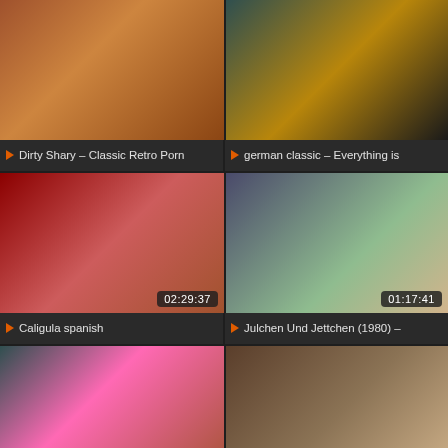[Figure (screenshot): Video thumbnail grid showing 6 video thumbnails in a 2x3 layout with titles and durations]
Dirty Shary - Classic Retro Porn
german classic - Everything is
Caligula spanish
Julchen Und Jettchen (1980) -
Busty and hot blonde European
Classic Pornstars Compilation 5B